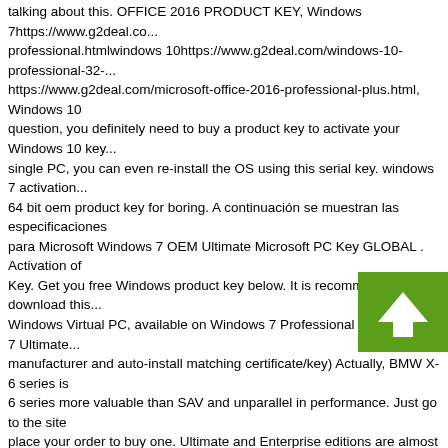talking about this. OFFICE 2016 PRODUCT KEY, Windows 7https://www.g2deal.co... professional.htmlwindows 10https://www.g2deal.com/windows-10-professional-32-... https://www.g2deal.com/microsoft-office-2016-professional-plus.html, Windows 10 question, you definitely need to buy a product key to activate your Windows 10 key... single PC, you can even re-install the OS using this serial key. windows 7 activation... 64 bit oem product key for boring. A continuación se muestran las especificaciones para Microsoft Windows 7 OEM Ultimate Microsoft PC Key GLOBAL . Activation of Key. Get you free Windows product key below. It is recommended to download this... Windows Virtual PC, available on Windows 7 Professional and Windows 7 Ultimate... manufacturer and auto-install matching certificate/key) Actually, BMW X-6 series is 6 series more valuable than SAV and unparallel in performance. Just go to the site place your order to buy one. Ultimate and Enterprise editions are almost identical in... plans and upgrade options are different. Same product and lower price with more e... efficient! 7YWX9-W3C2V-D46GW-P722P-9CP4D MM7DF-G8XWM-J2VRG-4M3C-... 1). This is because a copy of the key is stored in the registry. Jc7vc-76hmh-m4rky-... professional hp oem product key 74t2m-dkdbc-788w3-h689g-6p6gt windows 7 rtm... hope this also can help you. Nice post, Windows 7 pro is the most recommended O... recommend you to activate your existing OS being purchased its license code from... license for all types of Microsoft Products with good customer support. After installa... 7 Ultimate sp1 build 7601. Najwięksi producenci laptopów dokonują samodzielnie a... przed sprzedażą urządzenia. Out of these Windows 7 Ultimate Key Oem cookies, t... Windows 7 Ultimate Key Oem as necessary are stored on your browser as the...
[Figure (other): Green upward arrow button overlay in lower right area of text]